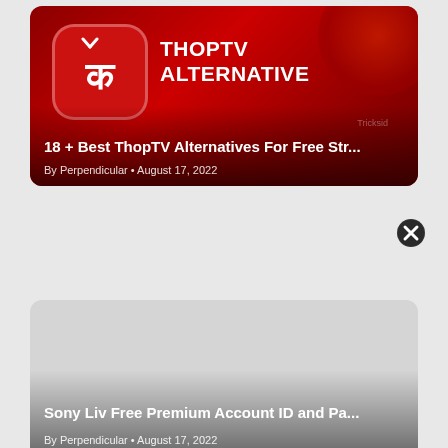[Figure (screenshot): Article card with red gradient background showing ThopTV Alternative logo (red rounded square with Hindi character) and THOPTV ALTERNATIVE text in white bold]
18 + Best ThopTV Alternatives For Free Str...
By Perpendicular • August 17, 2022
[Figure (screenshot): Article card with grey background for Sony Liv article, with close/dismiss button (circled X) in top-right area]
Sony Liv Free Premium Account ID and Pa...
By Perpendicular • August 17, 2022